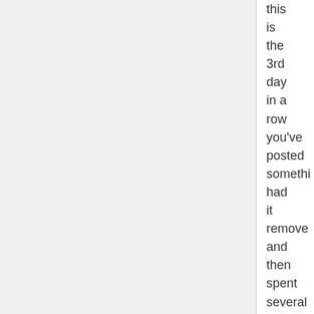this is the 3rd day in a row you've posted something had it removed and then spent several posts moaning about it